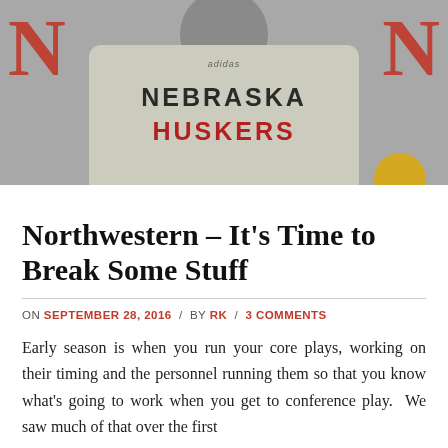[Figure (photo): Person wearing a gray Nebraska Huskers hoodie/shirt, viewed from behind, with large red N logos on either side of the background. A gold circle is visible at bottom right.]
Northwestern – It's Time to Break Some Stuff
ON SEPTEMBER 28, 2016 / BY RK / 3 COMMENTS
Early season is when you run your core plays, working on their timing and the personnel running them so that you know what's going to work when you get to conference play.  We saw much of that over the first